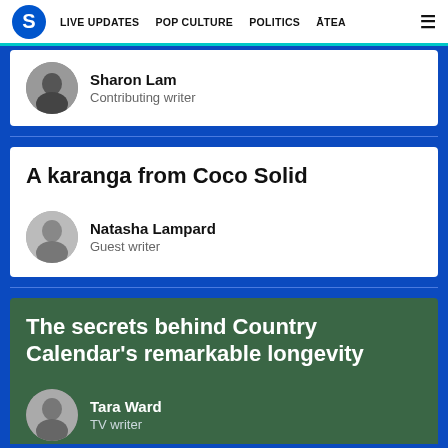S | LIVE UPDATES  POP CULTURE  POLITICS  ĀTEA  ☰
Sharon Lam
Contributing writer
A karanga from Coco Solid
Natasha Lampard
Guest writer
The secrets behind Country Calendar's remarkable longevity
Tara Ward
TV writer